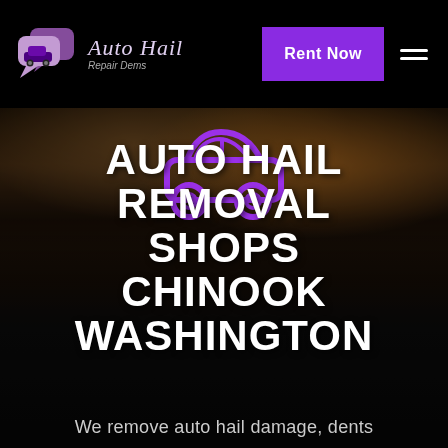[Figure (logo): Auto Hail Repair Dems logo with purple chat bubble car icons and italic script text]
Rent Now
[Figure (illustration): Purple car icon outline on dark stormy sky hero background with a dark car silhouette]
AUTO HAIL REMOVAL SHOPS CHINOOK WASHINGTON
We remove auto hail damage, dents